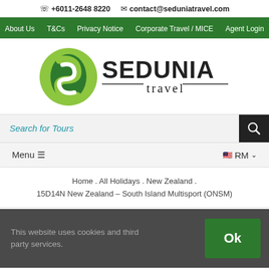☏ +6011-2648 8220  ✉ contact@seduniatravel.com
About Us  T&Cs  Privacy Notice  Corporate Travel / MICE  Agent Login
[Figure (logo): Sedunia Travel logo with green circular bird emblem and SEDUNIA travel text]
Search for Tours
Menu ≡  🇲🇾 RM  ∨
Home . All Holidays . New Zealand . 15D14N New Zealand – South Island Multisport (ONSM)
This website uses cookies and third party services.  Ok